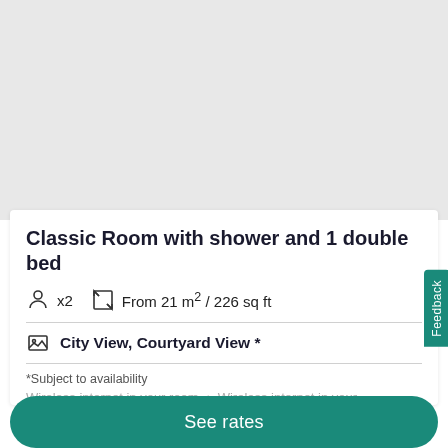[Figure (photo): Gray placeholder image area for hotel room photo]
Classic Room with shower and 1 double bed
x2  From 21 m² / 226 sq ft
City View, Courtyard View  *
*Subject to availability
Wireless internet in your room  •  Wireless internet in your
See rates
Feedback